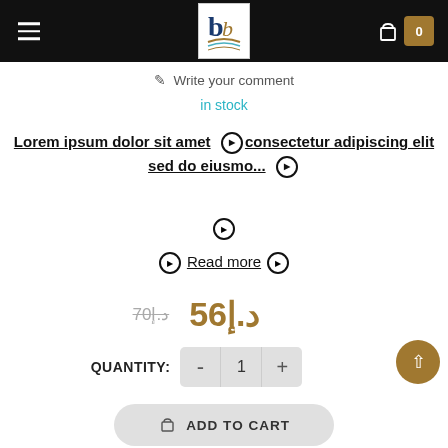bb logo, navigation header with cart (0)
Write your comment
in stock
Lorem ipsum dolor sit amet  ❶consectetur adipiscing elit sed do eiusmo... ❶
❶
❶ Read more ❶
70د.إ  56د.إ
QUANTITY: - 1 +
ADD TO CART